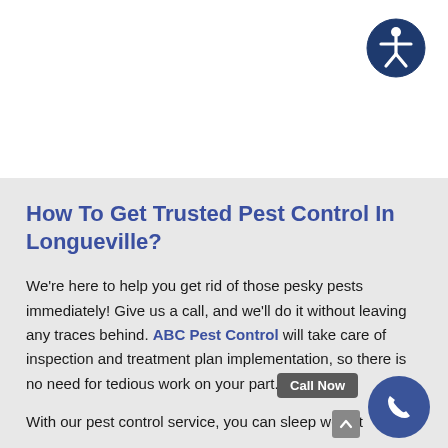[Figure (logo): Accessibility icon — a person figure inside a dark blue circle, representing web accessibility]
How To Get Trusted Pest Control In Longueville?
We're here to help you get rid of those pesky pests immediately! Give us a call, and we'll do it without leaving any traces behind. ABC Pest Control will take care of inspection and treatment plan implementation, so there is no need for tedious work on your part.
With our pest control service, you can sleep well at